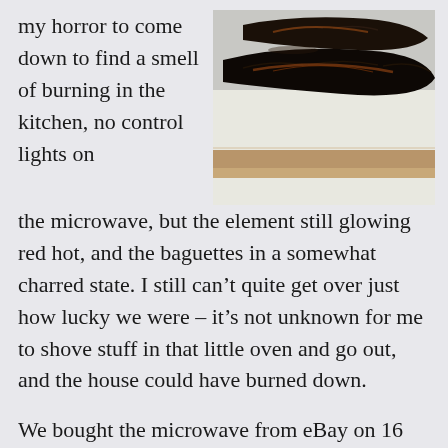my horror to come down to find a smell of burning in the kitchen, no control lights on the microwave, but the element still glowing red hot, and the baguettes in a somewhat charred state. I still can't quite get over just how lucky we were – it's not unknown for me to shove stuff in that little oven and go out, and the house could have burned down.
[Figure (photo): Two severely burnt/charred baguettes resting on a white surface with a brown/tan baking tray visible underneath.]
We bought the microwave from eBay on 16 December, and I have sent a Polite e-mail to the (business) vendor.  No response yet.